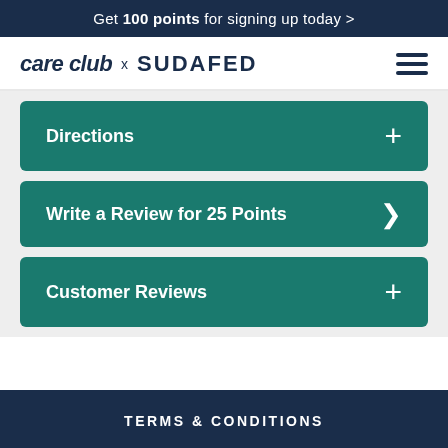Get 100 points for signing up today >
[Figure (logo): care club x SUDAFED logo with hamburger menu icon]
Directions +
Write a Review for 25 Points >
Customer Reviews +
TERMS & CONDITIONS